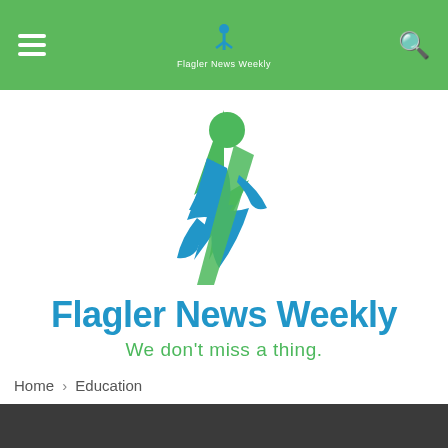Flagler News Weekly navigation bar
[Figure (logo): Flagler News Weekly logo: a running figure in blue and green with a green arrow shape, with text 'Flagler News Weekly' in bold blue and tagline 'We don't miss a thing.' in green]
Home › Education